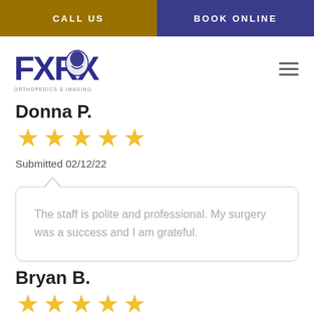CALL US | BOOK ONLINE
[Figure (logo): FXRX Orthopedics & Imaging logo with blue text and helmet graphic]
Donna P.
[Figure (other): 5 gold stars rating]
Submitted 02/12/22
The staff is polite and professional. My surgery was a success and I am grateful.
Bryan B.
[Figure (other): 5 gold stars rating (partial view)]